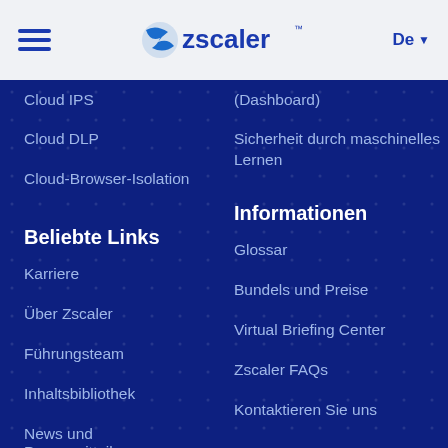[Figure (logo): Zscaler logo with hamburger menu and De language selector in header bar]
Cloud IPS
Cloud DLP
Cloud-Browser-Isolation
(Dashboard)
Sicherheit durch maschinelles Lernen
Beliebte Links
Informationen
Karriere
Glossar
Über Zscaler
Bundels und Preise
Führungsteam
Virtual Briefing Center
Inhaltsbibliothek
Zscaler FAQs
News und Pressemitteilungen
Kontaktieren Sie uns
Media-Kit
CXO REvolutionaries